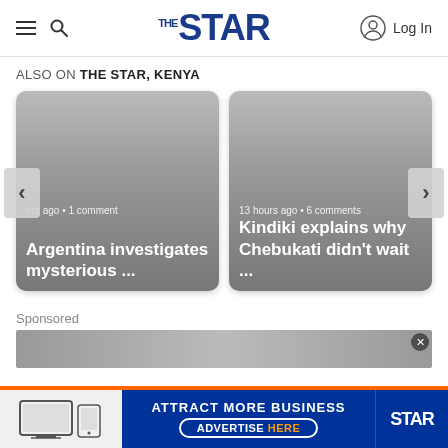THE STAR — Log In
ALSO ON THE STAR, KENYA
[Figure (screenshot): Two article cards in a carousel. Left card: '...hrs ago • 1 comment' — 'Argentina investigates mysterious ...'. Right card: '13 hours ago • 6 comments' — 'Kindiki explains why Chebukati didn't wait ...']
Sponsored
[Figure (photo): Sponsored content image showing industrial/warehouse setting]
[Figure (infographic): Bottom ad banner: ATTRACT MORE BUSINESS / ADVERTISE HERE — THE STAR]